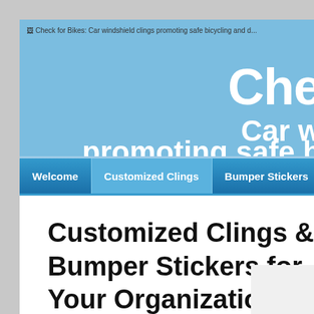[Figure (screenshot): Website header banner with light blue background showing partial logo/title text 'Che' and subtitle 'Car w... promoting safe b...' in large white bold font, with a broken image icon at top left labeled 'Check for Bikes: Car windshield clings promoting safe bicycling and d...']
Check for Bikes: Car windshield clings promoting safe bicycling and d...
Che
Car w
promoting safe b
Welcome | Customized Clings | Bumper Stickers
Customized Clings & Bumper Stickers for Your Organization